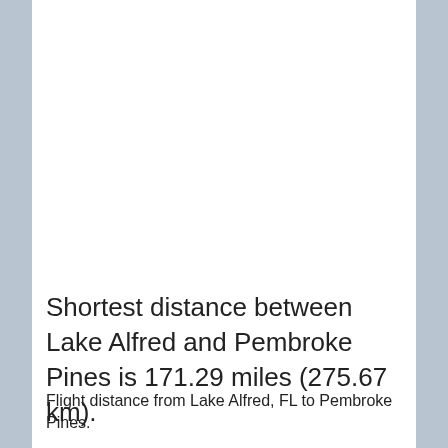Shortest distance between Lake Alfred and Pembroke Pines is 171.29 miles (275.67 km).
Flight distance from Lake Alfred, FL to Pembroke Pines.